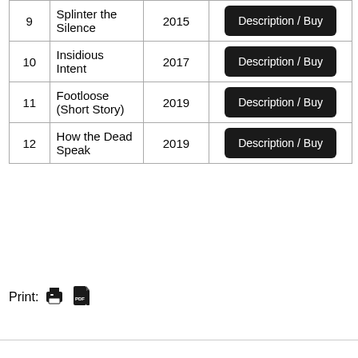| # | Title | Year |  |
| --- | --- | --- | --- |
| 9 | Splinter the Silence | 2015 | Description / Buy |
| 10 | Insidious Intent | 2017 | Description / Buy |
| 11 | Footloose (Short Story) | 2019 | Description / Buy |
| 12 | How the Dead Speak | 2019 | Description / Buy |
Print: